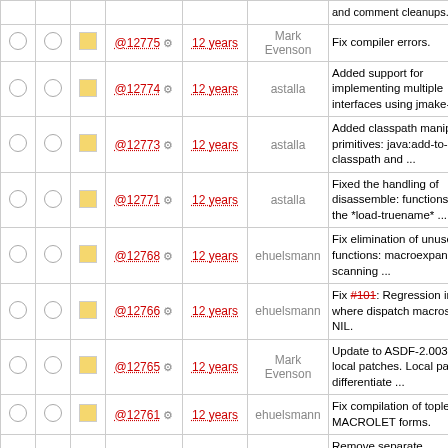|  |  |  | Rev | Age | Author | Message |
| --- | --- | --- | --- | --- | --- | --- |
| ○ ○ | □ | @12775 ⚙ | 12 years | Mark Evenson | Fix compiler errors. |
| ○ ○ | □ | @12774 ⚙ | 12 years | astalla | Added support for implementing multiple interfaces using jmake-proxy |
| ○ ○ | □ | @12773 ⚙ | 12 years | astalla | Added classpath manipulation primitives: java:add-to-classpath and ... |
| ○ ○ | □ | @12771 ⚙ | 12 years | astalla | Fixed the handling of disassemble: functions store the *load-truename* ... |
| ○ ○ | □ | @12768 ⚙ | 12 years | ehuelsmann | Fix elimination of unused local functions: macroexpand before scanning ... |
| ○ ○ | □ | @12766 ⚙ | 12 years | ehuelsmann | Fix #101: Regression in 0.20 where dispatch macros return NIL. |
| ○ ○ | □ | @12765 ⚙ | 12 years | Mark Evenson | Update to ASDF-2.003 with local patches. Local patches differentiate ... |
| ○ ○ | □ | @12761 ⚙ | 12 years | ehuelsmann | Fix compilation of toplevel MACROLET forms. |
| ○ ○ | □ | @12760 ⚙ | 12 years | ehuelsmann | Remove separate FaslVersionMismatch? exception in favor of raising a ... |
| ○ ○ | □ | @12759 ⚙ | 12 years | vyoutilainen | Mark functions final where applicable... |